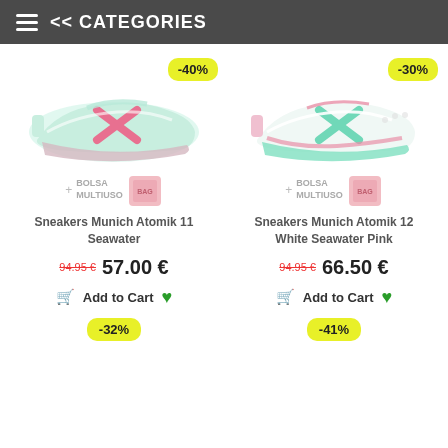<< CATEGORIES
[Figure (photo): Sneakers Munich Atomik 11 Seawater shoe with -40% discount badge and Bolsa Multiuso accessory]
[Figure (photo): Sneakers Munich Atomik 12 White Seawater Pink shoe with -30% discount badge and Bolsa Multiuso accessory]
Sneakers Munich Atomik 11 Seawater
Sneakers Munich Atomik 12 White Seawater Pink
94.95 € 57.00 €
94.95 € 66.50 €
Add to Cart
Add to Cart
-32%
-41%